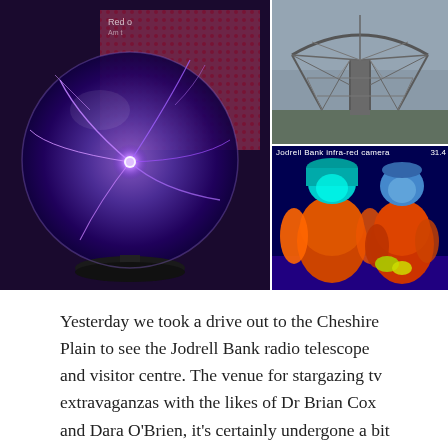[Figure (photo): Three photos: a plasma globe/ball with purple electric arcs on the left; top right shows the Jodrell Bank radio telescope dish structure from below against a cloudy sky; bottom right shows an infrared thermal camera image labeled 'Jodrell Bank infra-red camera' showing two people in orange, red, and blue thermal colors.]
Yesterday we took a drive out to the Cheshire Plain to see the Jodrell Bank radio telescope and visitor centre. The venue for stargazing tv extravaganzas with the likes of Dr Brian Cox and Dara O'Brien, it's certainly undergone a bit of a transformation since